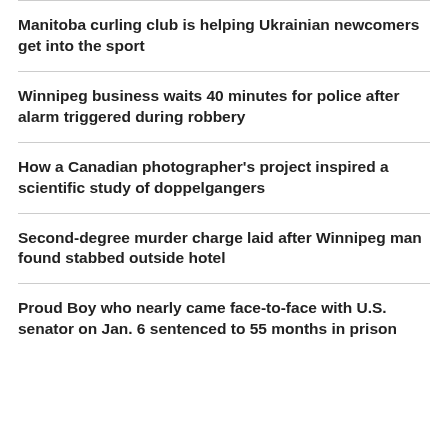Manitoba curling club is helping Ukrainian newcomers get into the sport
Winnipeg business waits 40 minutes for police after alarm triggered during robbery
How a Canadian photographer's project inspired a scientific study of doppelgangers
Second-degree murder charge laid after Winnipeg man found stabbed outside hotel
Proud Boy who nearly came face-to-face with U.S. senator on Jan. 6 sentenced to 55 months in prison